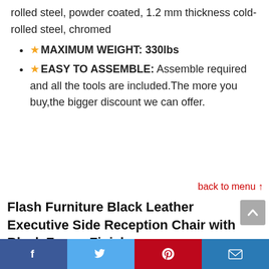rolled steel, powder coated, 1.2 mm thickness cold-rolled steel, chromed
★MAXIMUM WEIGHT: 330lbs
★EASY TO ASSEMBLE: Assemble required and all the tools are included.The more you buy,the bigger discount we can offer.
back to menu ↑
Flash Furniture Black Leather Executive Side Reception Chair with Black Frame Finish